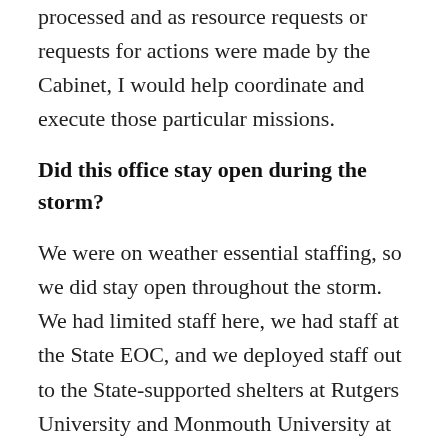processed and as resource requests or requests for actions were made by the Cabinet, I would help coordinate and execute those particular missions.
Did this office stay open during the storm?
We were on weather essential staffing, so we did stay open throughout the storm. We had limited staff here, we had staff at the State EOC, and we deployed staff out to the State-supported shelters at Rutgers University and Monmouth University at...